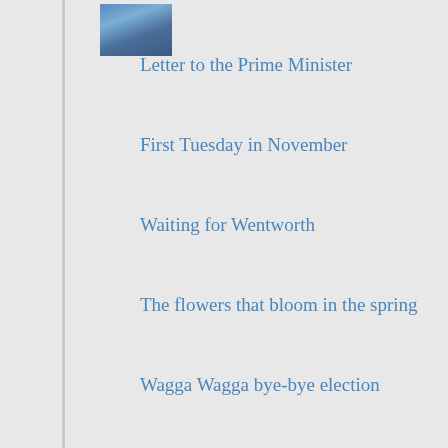[Figure (photo): Small thumbnail image of a building/parliament in blue tones, top left area]
Letter to the Prime Minister
First Tuesday in November
Waiting for Wentworth
The flowers that bloom in the spring
Wagga Wagga bye-bye election
[Figure (photo): Small thumbnail image of a dog (Jack Russell terrier) in brown and white tones]
Puff, The Magic Dragon
Australia Votes 2022
HAPPY EOSTRAE
Tick Off the Tolerance – In the Fun Box